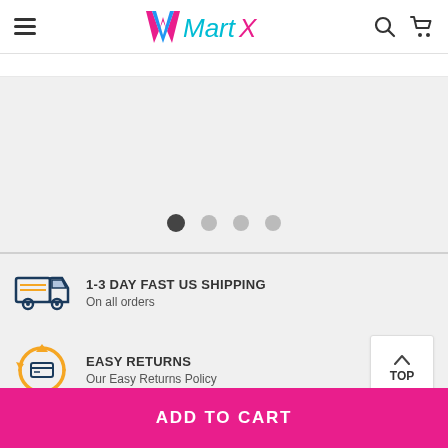MartX
[Figure (screenshot): Carousel image slider area with white bar at top and pagination dots (1 active dark, 3 inactive grey)]
[Figure (illustration): Delivery truck icon in dark blue with orange accent, representing fast shipping]
1-3 DAY FAST US SHIPPING
On all orders
[Figure (illustration): Returns/exchange icon with circular arrows in orange and a credit card symbol in dark blue]
EASY RETURNS
Our Easy Returns Policy
TOP
ADD TO CART